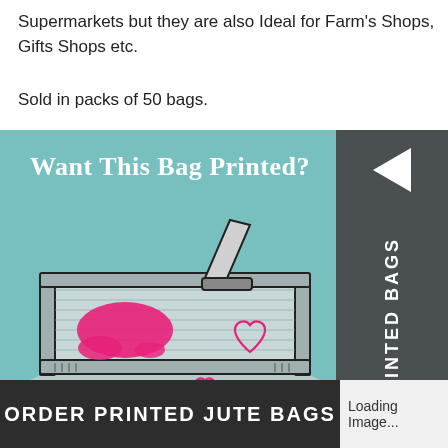Supermarkets but they are also Ideal for Farm's Shops, Gifts Shops etc.
Sold in packs of 50 bags.
[Figure (illustration): Promotional banner for printed jute bags. Teal background with a screen printing illustration showing a squeegee on a printing frame with pink ink and heart designs. Text reads 'Want This Bag Printed?' and 'ORDER PRINTED JUTE BAGS'. Dark grey sidebar on right with triangle arrow and vertical text 'PRINTED BAGS'. Bottom right shows 'Loading Image...' placeholder.]